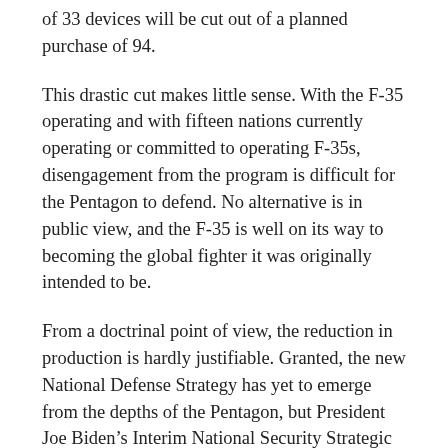of 33 devices will be cut out of a planned purchase of 94.
This drastic cut makes little sense. With the F-35 operating and with fifteen nations currently operating or committed to operating F-35s, disengagement from the program is difficult for the Pentagon to defend. No alternative is in public view, and the F-35 is well on its way to becoming the global fighter it was originally intended to be.
From a doctrinal point of view, the reduction in production is hardly justifiable. Granted, the new National Defense Strategy has yet to emerge from the depths of the Pentagon, but President Joe Biden's Interim National Security Strategic Directions support the F-35's value proposition. The interim guidelines highlight the international threats the F-35 was designed to respond to. It also calls for the revitalization and modernization of alliances and partnerships around the world. As such, the F-35 is already part of the “smart and disciplined” glue that